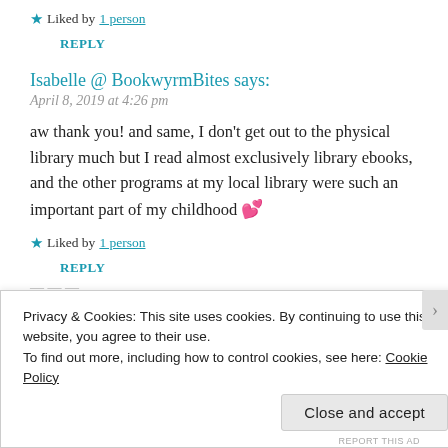★ Liked by 1 person
REPLY
Isabelle @ BookwyrmBites says:
April 8, 2019 at 4:26 pm
aw thank you! and same, I don't get out to the physical library much but I read almost exclusively library ebooks, and the other programs at my local library were such an important part of my childhood 💕
★ Liked by 1 person
REPLY
Privacy & Cookies: This site uses cookies. By continuing to use this website, you agree to their use. To find out more, including how to control cookies, see here: Cookie Policy
Close and accept